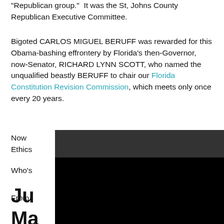"Republican group." It was the St, Johns County Republican Executive Committee.
Bigoted CARLOS MIGUEL BERUFF was rewarded for this Obama-bashing effrontery by Florida's then-Governor, now-Senator, RICHARD LYNN SCOTT, who named the unqualified beastly BERUFF to chair our Florida Constitution Revision Commission, which meets only once every 20 years.
Now CARLOS BERUFF is re-appointed to the Florida Ethics...
Who's...
From...
Ju
Ma
je...